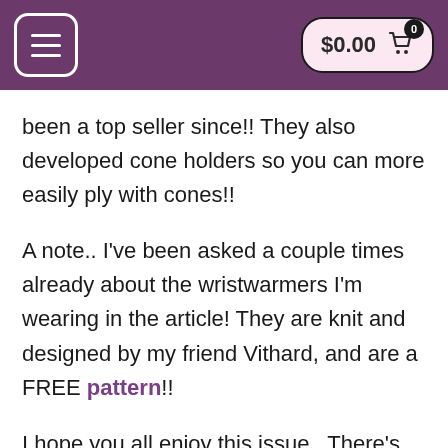$0.00  0
been a top seller since!! They also developed cone holders so you can more easily ply with cones!!
A note.. I've been asked a couple times already about the wristwarmers I'm wearing in the article! They are knit and designed by my friend Vithard, and are a FREE pattern!!
I hope you all enjoy this issue.. There's something really special planned for the next one...